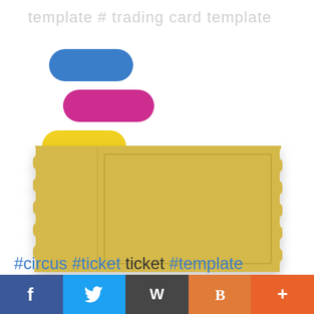template # trading card template
[Figure (logo): Three rounded pill/capsule shapes stacked diagonally: blue on top, magenta/pink in middle, yellow on bottom — forming a printing/design logo mark]
[Figure (illustration): A golden/yellow ticket with zigzag perforated left and right edges, a thin vertical stub line near the left, and an inset rectangular border. The ticket has a warm golden-yellow color (#D4B84A) with subtle shadow.]
#circus #ticket ticket #template free #golden ticket template ticket
[Figure (infographic): Social media icon bar with 5 sections: Facebook (dark blue, f), Twitter (light blue, bird), WordPress (dark gray, W), Blogger (orange, B), Plus/share (red-orange, +)]